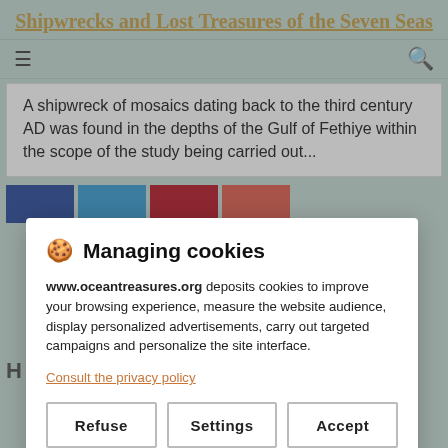Shipwrecks and Lost Treasures of the Seven Seas
A shipwreck of mosaics dating back to the third century AD was found in the depths of the Gulf of Fethiye within the scope of the study being carried out...
[Figure (screenshot): Social sharing buttons: Facebook (dark blue), Twitter (light blue), Pinterest (red), email/share (orange-red)]
🍪 Managing cookies

www.oceantreasures.org deposits cookies to improve your browsing experience, measure the website audience, display personalized advertisements, carry out targeted campaigns and personalize the site interface.

Consult the privacy policy

[Refuse] [Settings] [Accept]